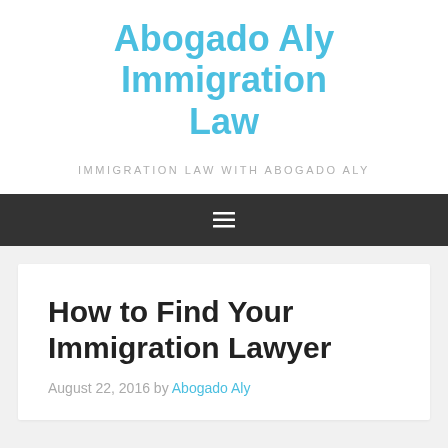Abogado Aly Immigration Law
IMMIGRATION LAW WITH ABOGADO ALY
[Figure (other): Navigation bar with hamburger menu icon (three horizontal lines) on dark background]
How to Find Your Immigration Lawyer
August 22, 2016 by Abogado Aly